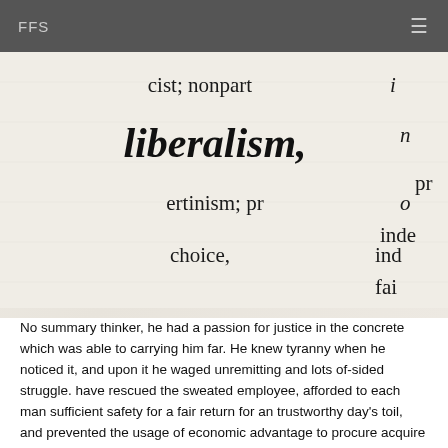FFS
[Figure (photo): Close-up photograph of a dictionary page showing the word 'liberalism,' in bold italic text, along with partial words: 'cist; nonpart...', 'n...', 'ertinism; pr...', 'inde...', 'choice,', 'inde...', 'fai...']
No summary thinker, he had a passion for justice in the concrete which was able to carrying him far. He knew tyranny when he noticed it, and upon it he waged unremitting and lots of-sided struggle. have rescued the sweated employee, afforded to each man sufficient safety for a fair return for an trustworthy day's toil, and prevented the usage of economic advantage to procure acquire for one man at the expense of another.
As the revolutionary American pamphleteer Thomas Raine